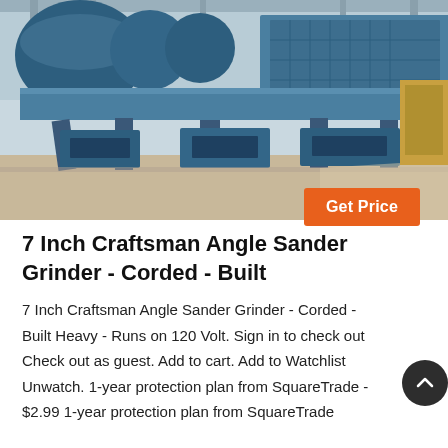[Figure (photo): A large blue industrial grinding/crushing machine in a warehouse or factory setting. The machine has blue metal structures, heavy base supports, and is on a concrete floor with natural light visible.]
7 Inch Craftsman Angle Sander Grinder - Corded - Built
7 Inch Craftsman Angle Sander Grinder - Corded - Built Heavy - Runs on 120 Volt. Sign in to check out Check out as guest. Add to cart. Add to Watchlist Unwatch. 1-year protection plan from SquareTrade - $2.99 1-year protection plan from SquareTrade